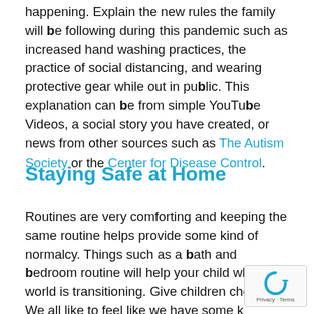happening. Explain the new rules the family will be following during this pandemic such as increased hand washing practices, the practice of social distancing, and wearing protective gear while out in public. This explanation can be from simple YouTube Videos, a social story you have created, or news from other sources such as The Autism Society or the Center for Disease Control.
Staying Safe at Home
Routines are very comforting and keeping the same routine helps provide some kind of normalcy. Things such as a bath and bedroom routine will help your child while the world is transitioning. Give children choices. We all like to feel like we have some kind of control in our lives as we comply with restrictions, giving children choices will bring a sense of